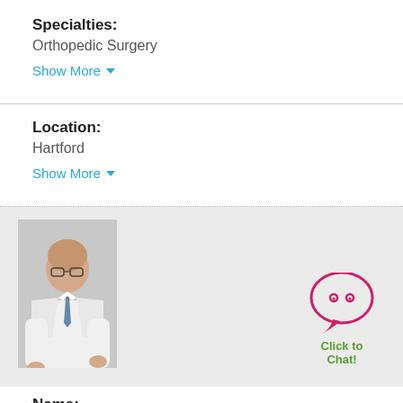Specialties:
Orthopedic Surgery
Show More
Location:
Hartford
Show More
[Figure (photo): Doctor in white lab coat with glasses and tie, professional headshot on grey background]
[Figure (illustration): Click to Chat button with speech bubble icon in pink/red, text in green]
Name: